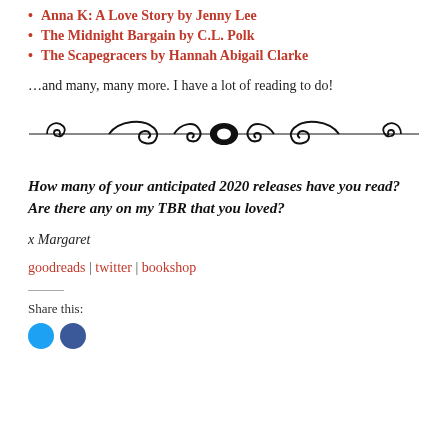Anna K: A Love Story by Jenny Lee
The Midnight Bargain by C.L. Polk
The Scapegracers by Hannah Abigail Clarke
…and many, many more. I have a lot of reading to do!
[Figure (illustration): Decorative ornamental divider with scroll and flourish design]
How many of your anticipated 2020 releases have you read? Are there any on my TBR that you loved?
x Margaret
goodreads | twitter | bookshop
Share this: